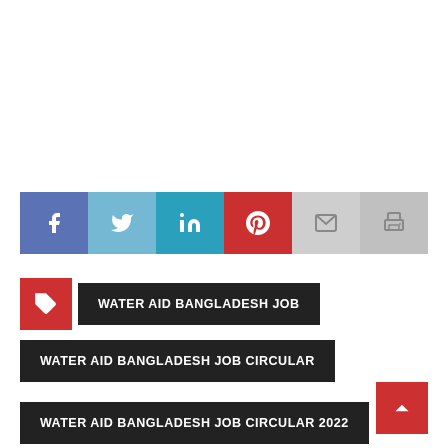[Figure (infographic): Social media share bar with Facebook (blue), Twitter (light blue), LinkedIn (teal), Pinterest (red), Email (light grey), Print (grey) buttons]
WATER AID BANGLADESH JOB
WATER AID BANGLADESH JOB CIRCULAR
WATER AID BANGLADESH JOB CIRCULAR 2022
WATER AID JOB CIRCULAR
WATER AID JOB CIRCULAR 2022